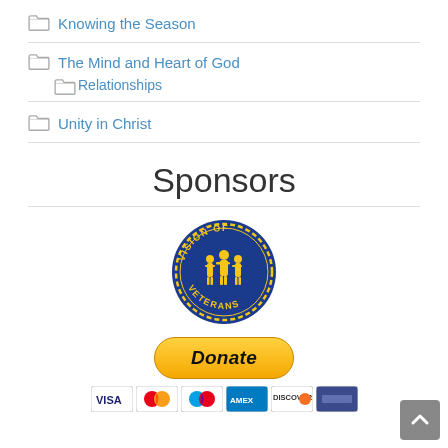Knowing the Season
The Mind and Heart of God
Relationships
Unity in Christ
Sponsors
[Figure (logo): Vision of Veterans circular badge logo with blue background, yellow border dots, and silhouettes of three soldiers]
[Figure (other): PayPal Donate button (yellow/gold rounded rectangle) with payment card icons below (Visa, Mastercard, Maestro, Amex, Discover, and one more)]